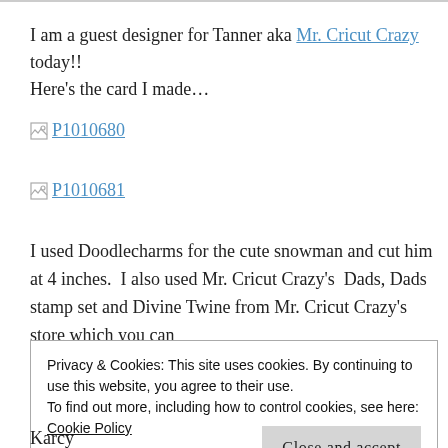I am a guest designer for Tanner aka Mr. Cricut Crazy today!! Here's the card I made…
[Figure (other): Broken image link labeled P1010680]
[Figure (other): Broken image link labeled P1010681]
I used Doodlecharms for the cute snowman and cut him at 4 inches.  I also used Mr. Cricut Crazy's  Dads, Dads stamp set and Divine Twine from Mr. Cricut Crazy's store which you can find…
Privacy & Cookies: This site uses cookies. By continuing to use this website, you agree to their use.
To find out more, including how to control cookies, see here:
Cookie Policy
Close and accept
Karcy